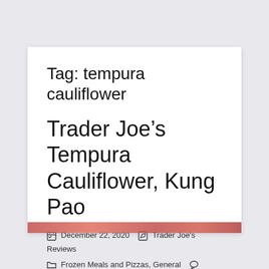Tag: tempura cauliflower
Trader Joe's Tempura Cauliflower, Kung Pao
December 22, 2020  Trader Joe's Reviews  Frozen Meals and Pizzas, General  Leave a Comment